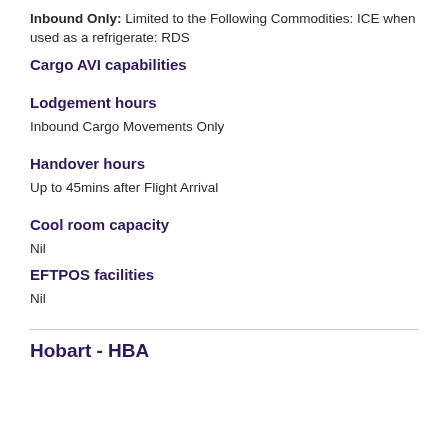Inbound Only: Limited to the Following Commodities: ICE when used as a refrigerate: RDS
Cargo AVI capabilities
Lodgement hours
Inbound Cargo Movements Only
Handover hours
Up to 45mins after Flight Arrival
Cool room capacity
Nil
EFTPOS facilities
Nil
Hobart - HBA